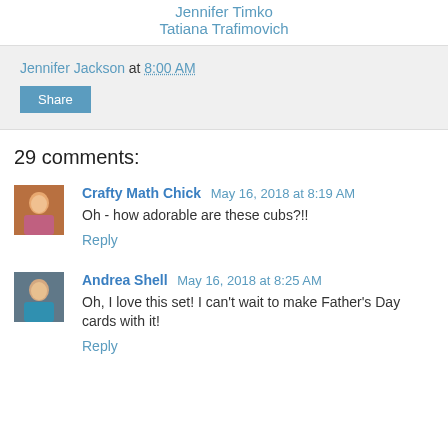Jennifer Timko
Tatiana Trafimovich
Jennifer Jackson at 8:00 AM
Share
29 comments:
Crafty Math Chick  May 16, 2018 at 8:19 AM
Oh - how adorable are these cubs?!!
Reply
Andrea Shell  May 16, 2018 at 8:25 AM
Oh, I love this set! I can't wait to make Father's Day cards with it!
Reply